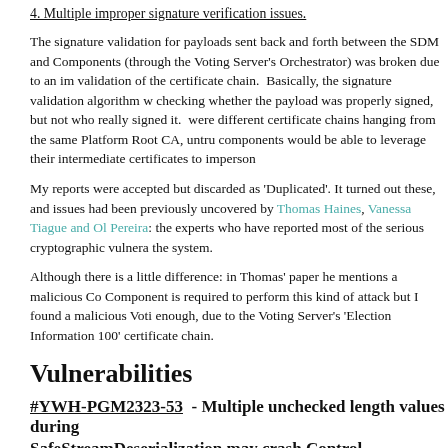4. Multiple improper signature verification issues.
The signature validation for payloads sent back and forth between the SDM and Components (through the Voting Server's Orchestrator) was broken due to an improper validation of the certificate chain. Basically, the signature validation algorithm was checking whether the payload was properly signed, but not who really signed it. As there were different certificate chains hanging from the same Platform Root CA, untrusted components would be able to leverage their intermediate certificates to impersonate.
My reports were accepted but discarded as 'Duplicated'. It turned out these, and other issues had been previously uncovered by Thomas Haines, Vanessa Tiague and Olivier Pereira: the experts who have reported most of the serious cryptographic vulnerabilities in the system.
Although there is a little difference: in Thomas' paper he mentions a malicious Control Component is required to perform this kind of attack but I found a malicious Voting Server is enough, due to the Voting Server's 'Election Information 100' certificate chain.
Vulnerabilities
#YWH-PGM2323-53  - Multiple unchecked length values during SafeStreamDeserialization may crash Control Components